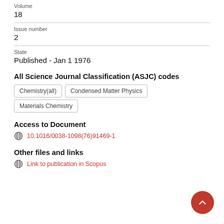Volume
18
Issue number
2
State
Published - Jan 1 1976
All Science Journal Classification (ASJC) codes
Chemistry(all)
Condensed Matter Physics
Materials Chemistry
Access to Document
10.1016/0038-1098(76)91469-1
Other files and links
Link to publication in Scopus